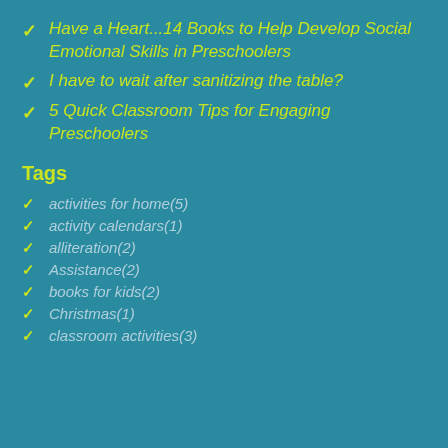Have a Heart...14 Books to Help Develop Social Emotional Skills in Preschoolers
I have to wait after sanitizing the table?
5 Quick Classroom Tips for Engaging Preschoolers
Tags
activities for home(5)
activity calendars(1)
alliteration(2)
Assistance(2)
books for kids(2)
Christmas(1)
classroom activities(3)